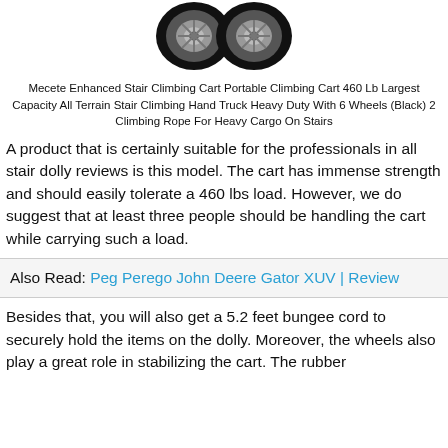[Figure (photo): Two wheels of a stair climbing cart shown from above, black rubber tires with silver hubs]
Mecete Enhanced Stair Climbing Cart Portable Climbing Cart 460 Lb Largest Capacity All Terrain Stair Climbing Hand Truck Heavy Duty With 6 Wheels (Black) 2 Climbing Rope For Heavy Cargo On Stairs
A product that is certainly suitable for the professionals in all stair dolly reviews is this model. The cart has immense strength and should easily tolerate a 460 lbs load. However, we do suggest that at least three people should be handling the cart while carrying such a load.
Also Read: Peg Perego John Deere Gator XUV | Review
Besides that, you will also get a 5.2 feet bungee cord to securely hold the items on the dolly. Moreover, the wheels also play a great role in stabilizing the cart. The rubber